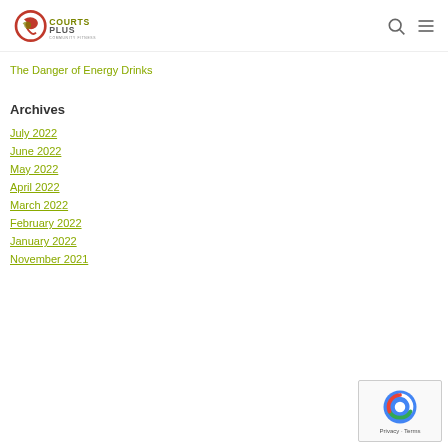Courts Plus Community Fitness
The Danger of Energy Drinks
Archives
July 2022
June 2022
May 2022
April 2022
March 2022
February 2022
January 2022
November 2021